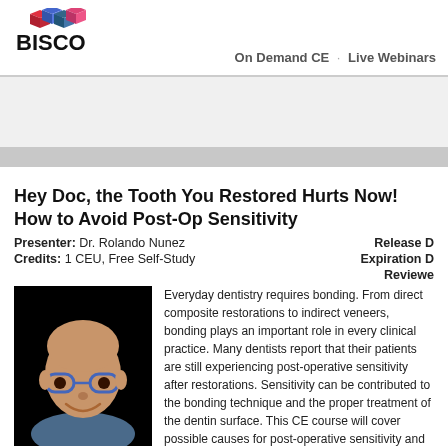[Figure (logo): BISCO logo with colorful cube shapes and bold BISCO text]
On Demand CE · Live Webinars
Hey Doc, the Tooth You Restored Hurts Now! How to Avoid Post-Op Sensitivity
Presenter: Dr. Rolando Nunez
Credits: 1 CEU, Free Self-Study
Release Date:
Expiration Date:
Reviewed:
[Figure (photo): Headshot photo of Dr. Rolando Nunez, a bald man with blue-framed glasses, smiling, wearing a blue shirt, against a black background]
Everyday dentistry requires bonding. From direct composite restorations to indirect veneers, bonding plays an important role in every clinical practice. Many dentists report that their patients are still experiencing post-operative sensitivity after restorations. Sensitivity can be contributed to the bonding technique and the proper treatment of the dentin surface. This CE course will cover possible causes for post-operative sensitivity and how to prevent it from happening.